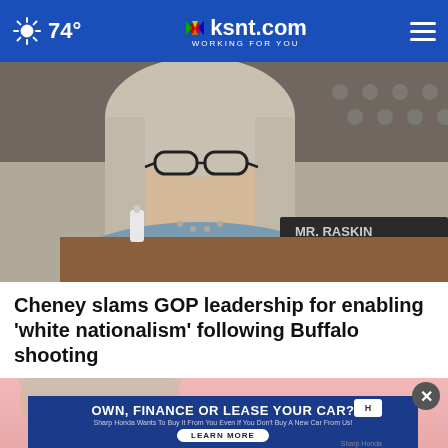74° ksnt.com WORKING FOR YOU
[Figure (photo): Close-up photo of a woman with blonde hair and black-rimmed glasses, wearing a blue-gray jacket and pearl necklace, seated at what appears to be a congressional hearing desk with a nameplate reading 'MR. RASKIN' visible in the background and an American flag.]
Cheney slams GOP leadership for enabling 'white nationalism' following Buffalo shooting
[Figure (photo): Partially visible photo below the headline, cropped. An advertisement overlay reads: 'OWN, FINANCE OR LEASE YOUR CAR? Sharp Honda Wants To Buy It From You Even If You Don't Buy A New Car From Us!' with a LEARN MORE button and Honda logo.]